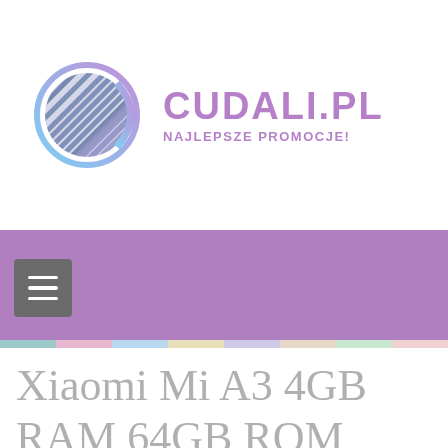[Figure (logo): Cudali.pl logo: a circular globe-like icon with diagonal blue-purple stripes inside, gradient outline from blue to purple, next to the text CUDALI.PL in bold purple uppercase and tagline NAJLEPSZE PROMOCJE! in smaller purple uppercase]
[Figure (other): Purple navigation bar with a dark grey hamburger menu button (three horizontal white lines) on the left, followed by a thin multicolored horizontal strip at the bottom]
Xiaomi Mi A3 4GB RAM 64GB ROM